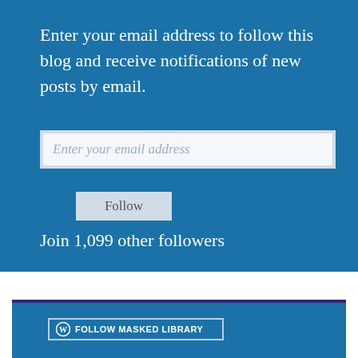Enter your email address to follow this blog and receive notifications of new posts by email.
Enter your email address
Follow
Join 1,099 other followers
Follow MASKED LIBRARY